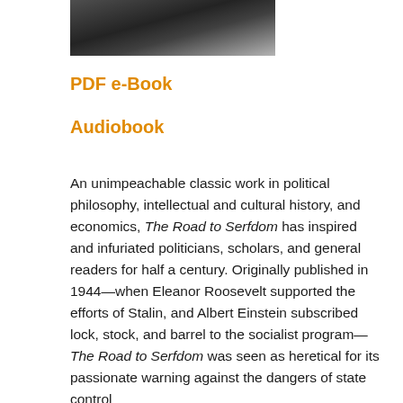[Figure (photo): Black and white photo strip showing a person, partially cropped at the top of the page]
PDF e-Book
Audiobook
An unimpeachable classic work in political philosophy, intellectual and cultural history, and economics, The Road to Serfdom has inspired and infuriated politicians, scholars, and general readers for half a century. Originally published in 1944—when Eleanor Roosevelt supported the efforts of Stalin, and Albert Einstein subscribed lock, stock, and barrel to the socialist program—The Road to Serfdom was seen as heretical for its passionate warning against the dangers of state control